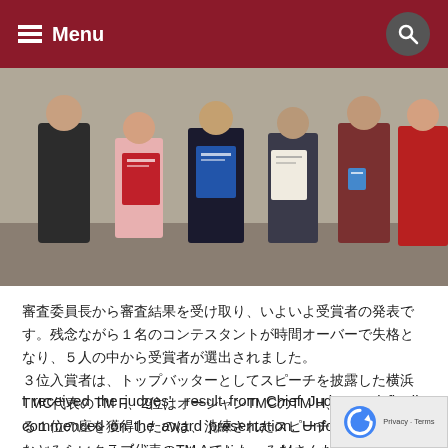Menu
[Figure (photo): Group of people standing indoors holding certificates — some red/white, one blue, one white — at an awards ceremony]
審査委員長から審査結果を受け取り、いよいよ受賞者の発表です。残念ながら１名のコンテスタントが時間オーバーで失格となり、５人の中から受賞者が選出されました。
３位入賞者は、トップバッターとしてスピーチを披露した横浜TMC代表のTM F、2位はオーシャンTMCのTM H、そして栄えある１位の座を獲得したのは、洗練されたスピーチを披露したみなとみらいクラブ代表のTM Aでした。みなさんおめでとうございました!
I received the judges' result from Chief Judge and finally commenced on the award presentation. Unfortunately, one contestant out of six went overtime and became disqualified. Therefore, winners were selected from remaining five